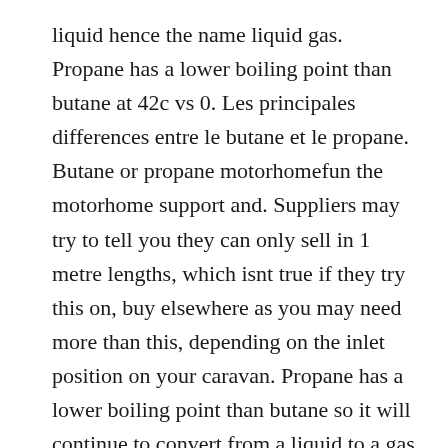liquid hence the name liquid gas. Propane has a lower boiling point than butane at 42c vs 0. Les principales differences entre le butane et le propane. Butane or propane motorhomefun the motorhome support and. Suppliers may try to tell you they can only sell in 1 metre lengths, which isnt true if they try this on, buy elsewhere as you may need more than this, depending on the inlet position on your caravan. Propane has a lower boiling point than butane so it will continue to convert from a liquid to a gas even in very cold conditions,